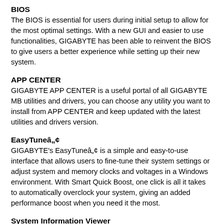BIOS
The BIOS is essential for users during initial setup to allow for the most optimal settings. With a new GUI and easier to use functionalities, GIGABYTE has been able to reinvent the BIOS to give users a better experience while setting up their new system.
APP CENTER
GIGABYTE APP CENTER is a useful portal of all GIGABYTE MB utilities and drivers, you can choose any utility you want to install from APP CENTER and keep updated with the latest utilities and drivers version.
EasyTuneâ„¢
GIGABYTE's EasyTuneâ„¢ is a simple and easy-to-use interface that allows users to fine-tune their system settings or adjust system and memory clocks and voltages in a Windows environment. With Smart Quick Boost, one click is all it takes to automatically overclock your system, giving an added performance boost when you need it the most.
System Information Viewer
GIGABYTE System Information Viewer is a central location that